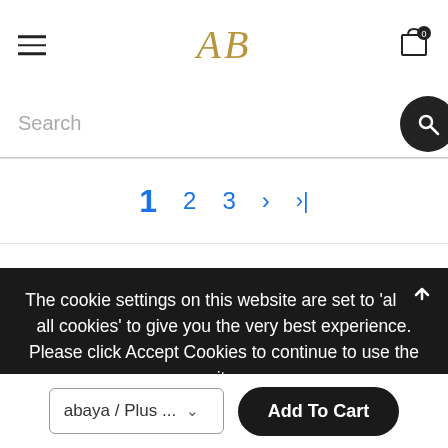[Figure (logo): AB logo monogram in gold serif italic font with hamburger menu on left and cart icon on right]
Search
1  2  3  >  >>
The cookie settings on this website are set to 'allow all cookies' to give you the very best experience. Please click Accept Cookies to continue to use the site.
Accept
Privacy Policy
abaya / Plus ...
Add To Cart